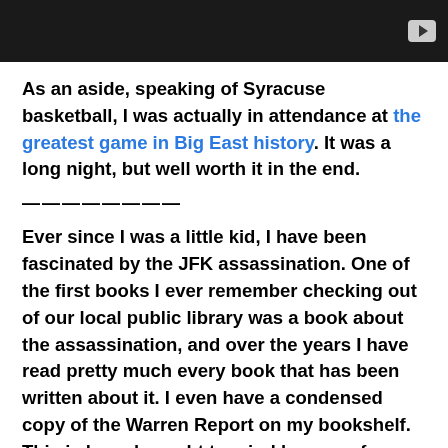[Figure (screenshot): Dark video player bar with a play button in the top-right corner]
As an aside, speaking of Syracuse basketball, I was actually in attendance at the greatest game in Big East history. It was a long night, but well worth it in the end.
————————
Ever since I was a little kid, I have been fascinated by the JFK assassination. One of the first books I ever remember checking out of our local public library was a book about the assassination, and over the years I have read pretty much every book that has been written about it. I even have a condensed copy of the Warren Report on my bookshelf. This is been brought to mind because for Christmas I got Stephen King's most recent book 11/22/63, about a man who goes back in time in an effort